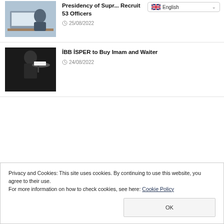[Figure (photo): Person working at a laptop with documents, office setting — thumbnail image for article]
Presidency of Supr... Recruit 53 Officers
25/08/2022
[Figure (photo): Waiter in suit holding a tray — thumbnail image for article]
İBB İSPER to Buy Imam and Waiter
24/08/2022
Privacy and Cookies: This site uses cookies. By continuing to use this website, you agree to their use.
For more information on how to check cookies, see here: Cookie Policy